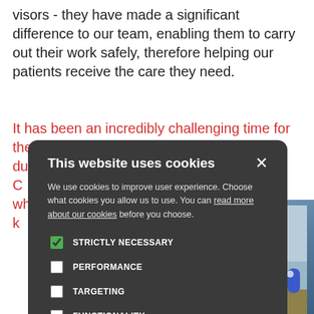visors - they have made a significant difference to our team, enabling them to carry out their work safely, therefore helping our patients receive the care they need.
It has been an incredibly challenging time for the majority of ... st during this C ... orkers who've k
[Figure (screenshot): Cookie consent modal overlay showing 'This website uses cookies' dialog with checkboxes for STRICTLY NECESSARY (checked), PERFORMANCE, TARGETING, FUNCTIONALITY, and buttons ACCEPT ALL and DECLINE ALL. Behind the modal is a photo of a nurse in blue scrubs standing in a hospital corridor.]
[Figure (photo): A woman in blue scrubs (nurse) standing in a hospital environment, smiling at the camera.]